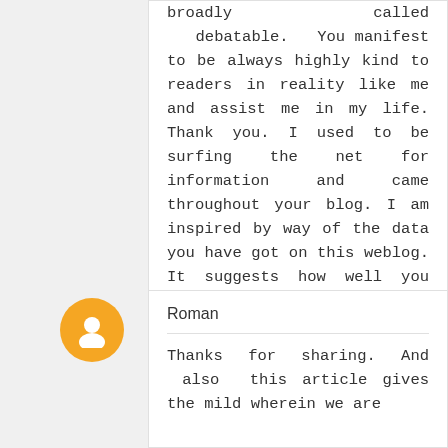broadly called debatable. You manifest to be always highly kind to readers in reality like me and assist me in my life. Thank you. I used to be surfing the net for information and came throughout your blog. I am inspired by way of the data you have got on this weblog. It suggests how well you apprehend this subject. The arrival successfully incredible. Each this sort of miniscule information and records might be designed running with huge range of song report sensible experience. I love it a lot. Cool you write, the statistics is superb and thrilling, i will give you a link to my web site. เกมส์
Reply
Roman
Thanks for sharing. And also this article gives the mild wherein we are